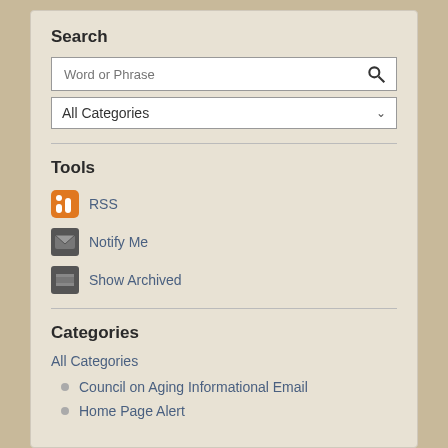Search
[Figure (screenshot): Search input field with placeholder 'Word or Phrase' and a search icon, followed by an 'All Categories' dropdown selector]
Tools
RSS
Notify Me
Show Archived
Categories
All Categories
Council on Aging Informational Email
Home Page Alert
ADA Transition Plan
Attleboro High School Project